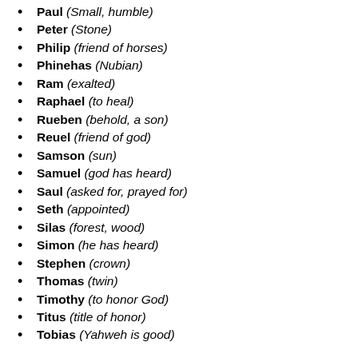Paul (Small, humble)
Peter (Stone)
Philip (friend of horses)
Phinehas (Nubian)
Ram (exalted)
Raphael (to heal)
Rueben (behold, a son)
Reuel (friend of god)
Samson (sun)
Samuel (god has heard)
Saul (asked for, prayed for)
Seth (appointed)
Silas (forest, wood)
Simon (he has heard)
Stephen (crown)
Thomas (twin)
Timothy (to honor God)
Titus (title of honor)
Tobias (Yahweh is good)